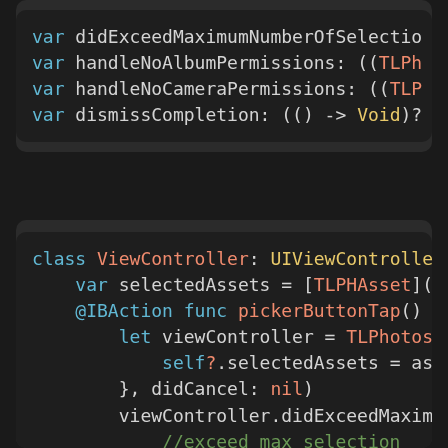[Figure (screenshot): Swift code snippet showing variable declarations: handleNoAlbumPermissions, handleNoCameraPermissions, dismissCompletion with types cut off at right edge]
[Figure (screenshot): Swift code snippet showing a ViewController class declaration inheriting from UIViewController, with selectedAssets var, @IBAction func pickerButtonTap, viewController assignments, didCancel nil, didExceedMaximumN, comment //exceed max selection, handleNoAlbumPerm, comment // handle denied albums perm, handleNoCameraPer, comment // handle denied camera perm]